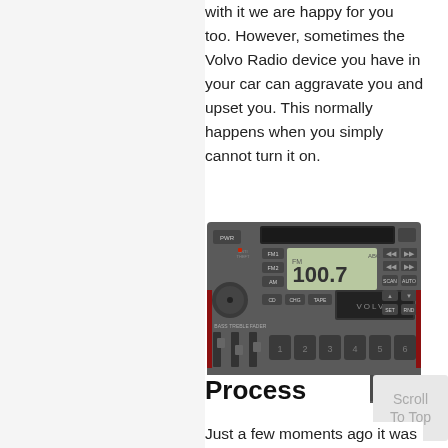with it we are happy for you too. However, sometimes the Volvo Radio device you have in your car can aggravate you and upset you. This normally happens when you simply cannot turn it on.
[Figure (photo): A Volvo car radio unit showing FM display reading 100.7, with buttons including FM1, FM2, AM, BASS, TREBLE, FADER, SCAN, AUTO, CD, CHG, TAPE, SET, RND and numbered preset buttons 1-6.]
Process
Just a few moments ago it was working